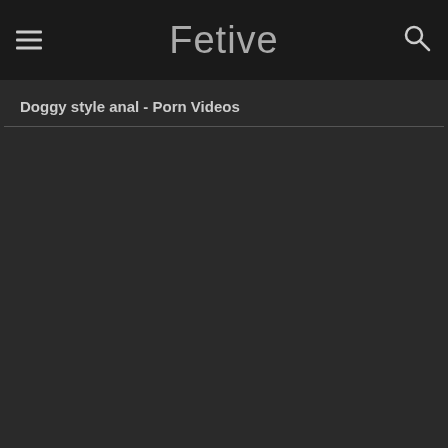Fetive
Doggy style anal - Porn Videos